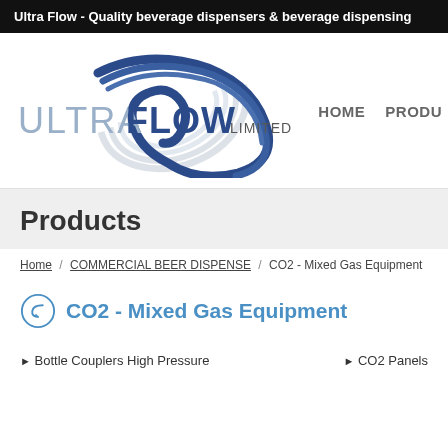Ultra Flow - Quality beverage dispensers & beverage dispensing
[Figure (logo): Ultra Flow Limited logo with swirl graphic in blue/grey tones]
HOME   PRODU
Products
Home / COMMERCIAL BEER DISPENSE / CO2 - Mixed Gas Equipment
CO2 - Mixed Gas Equipment
Bottle Couplers High Pressure
CO2 Panels